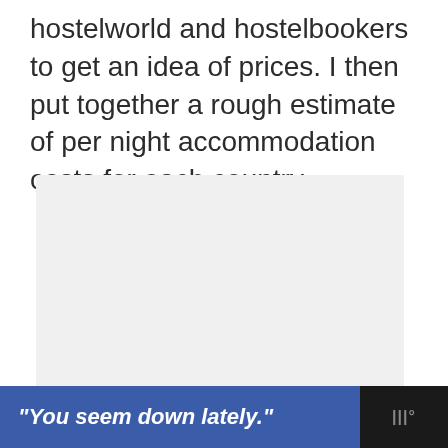hostelworld and hostelbookers to get an idea of prices. I then put together a rough estimate of per night accommodation costs for each country.
[Figure (other): Light gray placeholder image block for accommodation cost content]
"You seem down lately."